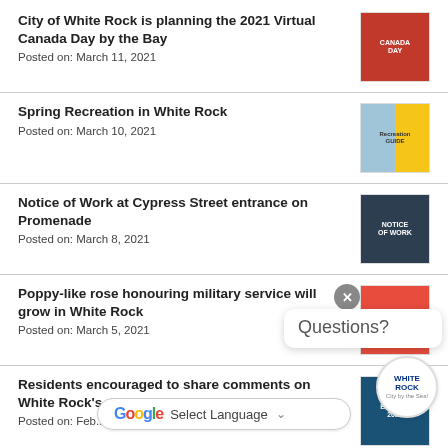City of White Rock is planning the 2021 Virtual Canada Day by the Bay
Posted on: March 11, 2021
Spring Recreation in White Rock
Posted on: March 10, 2021
Notice of Work at Cypress Street entrance on Promenade
Posted on: March 8, 2021
Poppy-like rose honouring military service will grow in White Rock
Posted on: March 5, 2021
Residents encouraged to share comments on White Rock's draft Financial Plan
Posted on: Feb...
Apply to be a food vendor along the White...